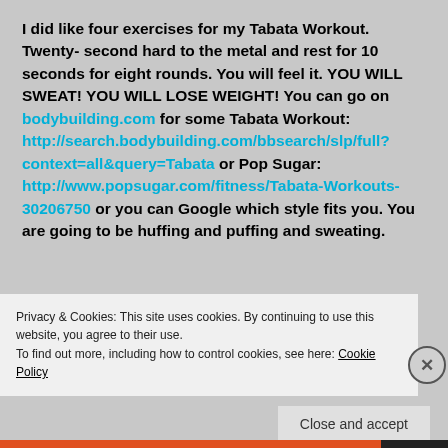I did like four exercises for my Tabata Workout. Twenty- second hard to the metal and rest for 10 seconds for eight rounds. You will feel it. YOU WILL SWEAT! YOU WILL LOSE WEIGHT! You can go on bodybuilding.com for some Tabata Workout: http://search.bodybuilding.com/bbsearch/slp/full?context=all&query=Tabata or Pop Sugar: http://www.popsugar.com/fitness/Tabata-Workouts-30206750 or you can Google which style fits you. You are going to be huffing and puffing and sweating.
Privacy & Cookies: This site uses cookies. By continuing to use this website, you agree to their use.
To find out more, including how to control cookies, see here: Cookie Policy
Close and accept